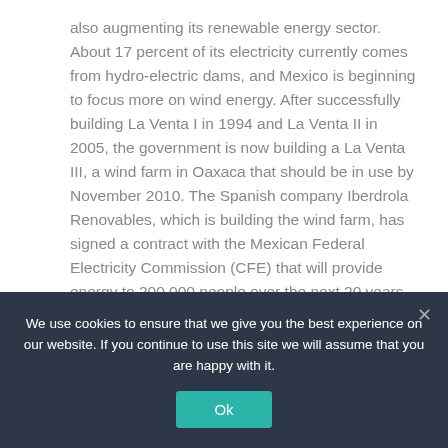also augmenting its renewable energy sector. About 17 percent of its electricity currently comes from hydro-electric dams, and Mexico is beginning to focus more on wind energy. After successfully building La Venta I in 1994 and La Venta II in 2005, the government is now building a La Venta III, a wind farm in Oaxaca that should be in use by November 2010. The Spanish company Iberdrola Renovables, which is building the wind farm, has signed a contract with the Mexican Federal Electricity Commission (CFE) that will provide energy to 200,000 people over the next 20 years. The World Bank provided La
We use cookies to ensure that we give you the best experience on our website. If you continue to use this site we will assume that you are happy with it.